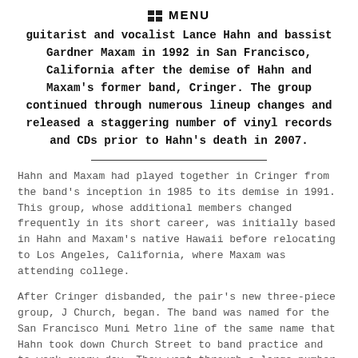MENU
guitarist and vocalist Lance Hahn and bassist Gardner Maxam in 1992 in San Francisco, California after the demise of Hahn and Maxam's former band, Cringer. The group continued through numerous lineup changes and released a staggering number of vinyl records and CDs prior to Hahn's death in 2007.
Hahn and Maxam had played together in Cringer from the band's inception in 1985 to its demise in 1991. This group, whose additional members changed frequently in its short career, was initially based in Hahn and Maxam's native Hawaii before relocating to Los Angeles, California, where Maxam was attending college.
After Cringer disbanded, the pair's new three-piece group, J Church, began. The band was named for the San Francisco Muni Metro line of the same name that Hahn took down Church Street to band practice and to work every day. They went through a large number of drummers in their career – a noteworthy early player was former Jawbreaker drummer